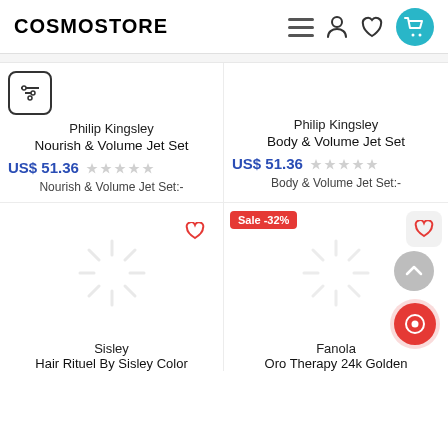COSMOSTORE — navigation header with menu, user, wishlist, and cart icons
Philip Kingsley
Nourish & Volume Jet Set
US$ 51.36
Nourish & Volume Jet Set:-
Philip Kingsley
Body & Volume Jet Set
US$ 51.36
Body & Volume Jet Set:-
[Figure (screenshot): Sisley product loading placeholder with heart icon]
Sisley
Hair Rituel By Sisley Color
[Figure (screenshot): Fanola product loading placeholder with Sale -32% badge and heart icon, scroll-to-top and chat buttons]
Fanola
Oro Therapy 24k Golden